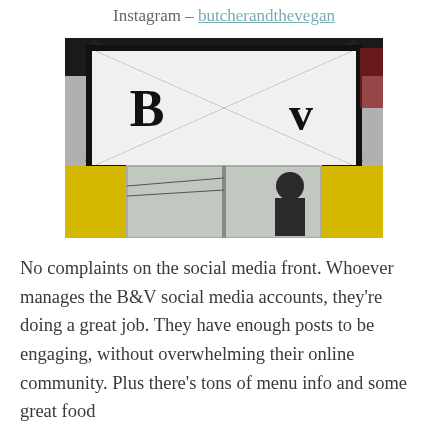Instagram – butcherandthevegan
[Figure (photo): Exterior sign of B&V (Butcher and the Vegan) restaurant showing a white rectangular sign with a large X through it and the letters B and V on either side, mounted above yellow-painted storefront windows.]
No complaints on the social media front. Whoever manages the B&V social media accounts, they're doing a great job. They have enough posts to be engaging, without overwhelming their online community. Plus there's tons of menu info and some great food